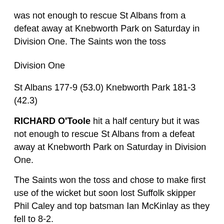was not enough to rescue St Albans from a defeat away at Knebworth Park on Saturday in Division One. The Saints won the toss
Division One
St Albans 177-9 (53.0) Knebworth Park 181-3 (42.3)
RICHARD O'Toole hit a half century but it was not enough to rescue St Albans from a defeat away at Knebworth Park on Saturday in Division One.
The Saints won the toss and chose to make first use of the wicket but soon lost Suffolk skipper Phil Caley and top batsman Ian McKinlay as they fell to 8-2.
Yasir Arafat and Kyle Sharp tried to steady the innings but the latter was removed by Paul Slade. Arafat took the responsibility on and blasted the score on from 23